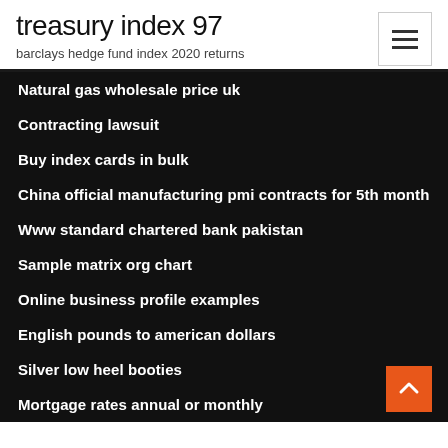treasury index 97
barclays hedge fund index 2020 returns
Natural gas wholesale price uk
Contracting lawsuit
Buy index cards in bulk
China official manufacturing pmi contracts for 5th month
Www standard chartered bank pakistan
Sample matrix org chart
Online business profile examples
English pounds to american dollars
Silver low heel booties
Mortgage rates annual or monthly